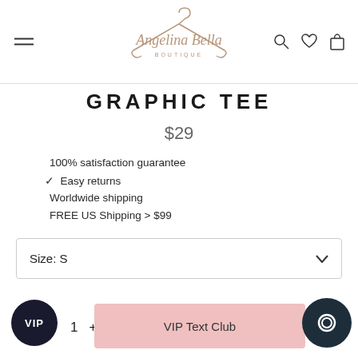Angelina Bella Boutique
GRAPHIC TEE
$29
100% satisfaction guarantee
✔ Easy returns
Worldwide shipping
FREE US Shipping > $99
Size: S
VIP  1  +
VIP Text Club